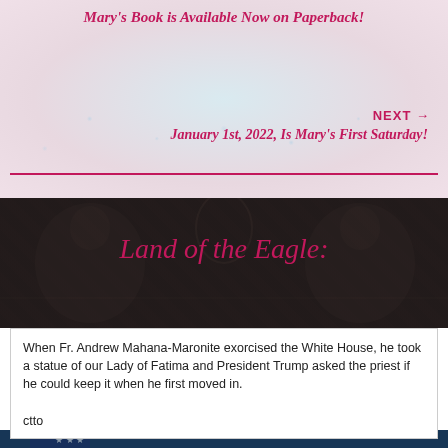Mary's Book is Available Now on Paperback!
NEXT →
January 1st, 2022, Is Mary's First Saturday!
Land of the Eagle:
[Figure (photo): Dark background section with religious artwork/illustration visible behind the title text]
When Fr. Andrew Mahana-Maronite exorcised the White House, he took a statue of our Lady of Fatima and President Trump asked the priest if he could keep it when he first moved in.

ctto
[Figure (photo): Photo of two men standing together in front of an American flag and blue curtains, one man in a suit smiling]